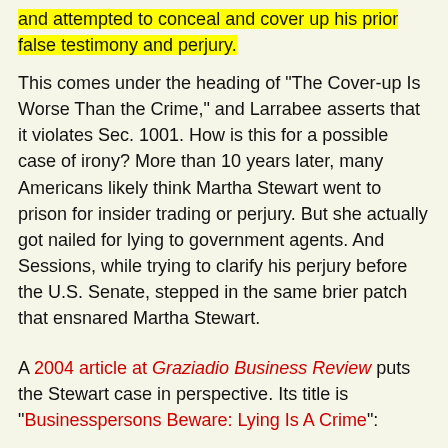and attempted to conceal and cover up his prior false testimony and perjury.
This comes under the heading of "The Cover-up Is Worse Than the Crime," and Larrabee asserts that it violates Sec. 1001. How is this for a possible case of irony? More than 10 years later, many Americans likely think Martha Stewart went to prison for insider trading or perjury. But she actually got nailed for lying to government agents. And Sessions, while trying to clarify his perjury before the U.S. Senate, stepped in the same brier patch that ensnared Martha Stewart.
A 2004 article at Graziadio Business Review puts the Stewart case in perspective. Its title is "Businesspersons Beware: Lying Is A Crime":
In recent corporate scandals, some executives have learned the hard way that lying is still a crime in corporate America. Martha Stewart was accused of selling her ImClone stock allegedly after receiving insider information. However, she